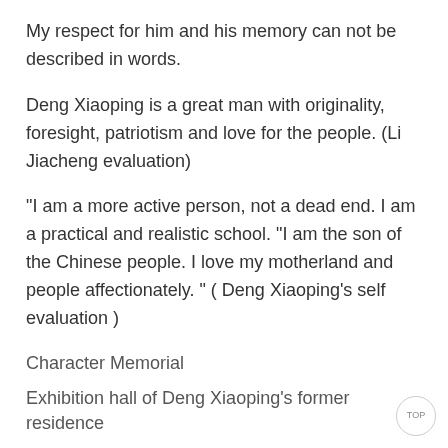My respect for him and his memory can not be described in words.
Deng Xiaoping is a great man with originality, foresight, patriotism and love for the people. (Li Jiacheng evaluation)
"I am a more active person, not a dead end. I am a practical and realistic school. "I am the son of the Chinese people. I love my motherland and people affectionately. " ( Deng Xiaoping's self evaluation )
Character Memorial
Exhibition hall of Deng Xiaoping's former residence
The exhibition hall of Deng Xiaoping's former residence is 3800 square meters, consisting of the hall, three exhibition halls, movie rooms and collection hall. A total of 170 Pieces